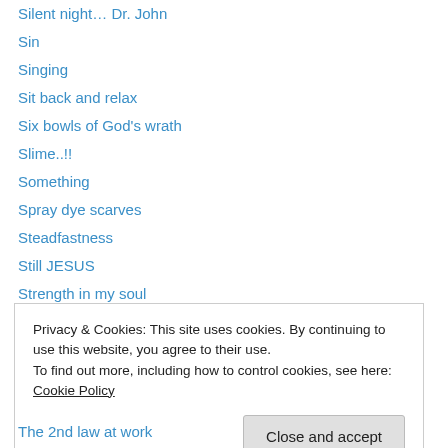Silent night… Dr. John
Sin
Singing
Sit back and relax
Six bowls of God's wrath
Slime..!!
Something
Spray dye scarves
Steadfastness
Still JESUS
Strength in my soul
Strongholds falling
Sunglasses and Pink lemonade
Privacy & Cookies: This site uses cookies. By continuing to use this website, you agree to their use.
To find out more, including how to control cookies, see here: Cookie Policy
The 2nd law at work